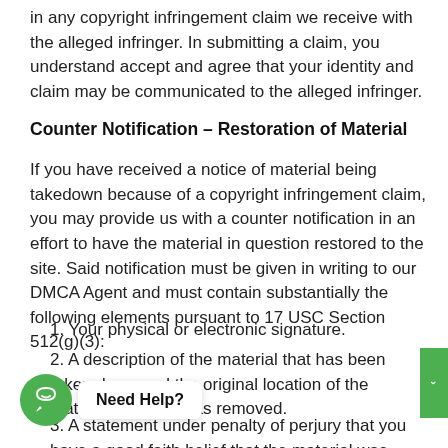in any copyright infringement claim we receive with the alleged infringer. In submitting a claim, you understand accept and agree that your identity and claim may be communicated to the alleged infringer.
Counter Notification – Restoration of Material
If you have received a notice of material being takedown because of a copyright infringement claim, you may provide us with a counter notification in an effort to have the material in question restored to the site. Said notification must be given in writing to our DMCA Agent and must contain substantially the following elements pursuant to 17 USC Section 512(g)(3):
1. Your physical or electronic signature.
2. A description of the material that has been taken down and the original location of the material before it was removed.
3. A statement under penalty of perjury that you have a good faith belief that the material was removed or